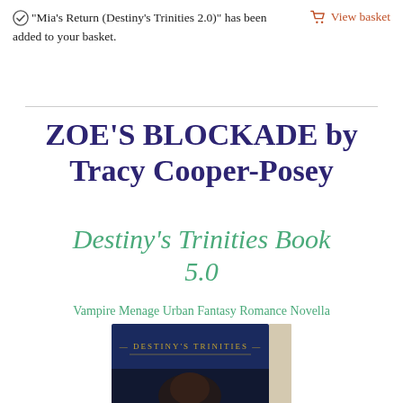"Mia's Return (Destiny's Trinities 2.0)" has been added to your basket.
View basket
ZOE'S BLOCKADE by Tracy Cooper-Posey
Destiny's Trinities Book 5.0
Vampire Menage Urban Fantasy Romance Novella
[Figure (photo): Book cover image showing 'Destiny's Trinities' text on a dark blue cover with a partial face visible at the bottom]